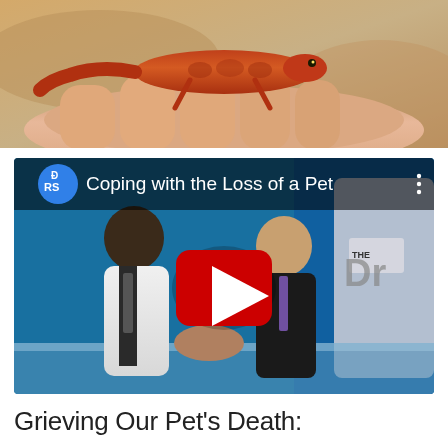[Figure (photo): Close-up photo of hands holding a small red/orange reptile or gecko, warm natural light background]
[Figure (screenshot): YouTube video thumbnail showing two men shaking hands on a TV set. The DRS logo and text 'Coping with the Loss of a Pet' appear at the top. A red YouTube play button is centered on the image. The set background is blue with 'THE Dr' branding visible.]
Grieving Our Pet's Death: